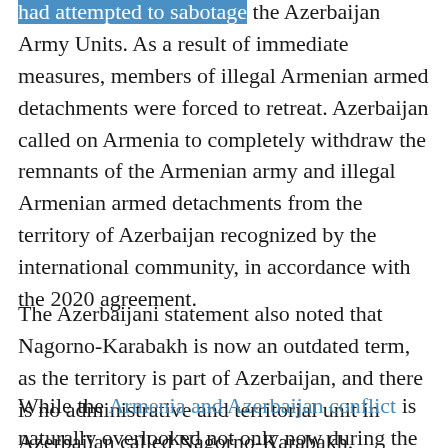had attempted to sabotage the Azerbaijan Army Units. As a result of immediate measures, members of illegal Armenian armed detachments were forced to retreat. Azerbaijan called on Armenia to completely withdraw the remnants of the Armenian army and illegal Armenian armed detachments from the territory of Azerbaijan recognized by the international community, in accordance with the 2020 agreement.
The Azerbaijani statement also noted that Nagorno-Karabakh is now an outdated term, as the territory is part of Azerbaijan, and there is no administrative and territorial unit in Azerbaijan called Nagorno-Karabakh.
While the Armenia and Azerbaijan conflict is naturally overlooked not only now during the war in